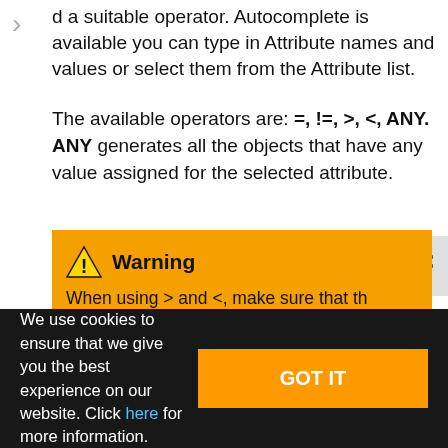d a suitable operator. Autocomplete is available you can type in Attribute names and values or select them from the Attribute list.
The available operators are: =, !=, >, <, ANY. ANY generates all the objects that have any value assigned for the selected attribute.
Warning
When using > and <, make sure that the selected attribute type is a number. String
We use cookies to ensure that we give you the best experience on our website. Click here for more information.